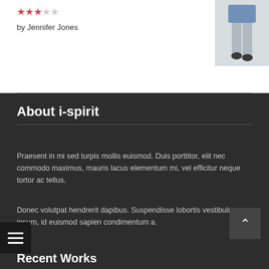★★★☆☆
by Jennifer Jones
[Figure (photo): Product photo of blue shorts on a model, showing legs]
About i-spirit
Praesent in mi sed turpis mollis euismod. Duis porttitor, elit nec commodo maximus, mauris lacus elementum mi, vel efficitur neque tortor ac tellus.
Donec volutpat hendrerit dapibus. Suspendisse lobortis vestibulum ipsum, id euismod sapien condimentum a.
Recent Works